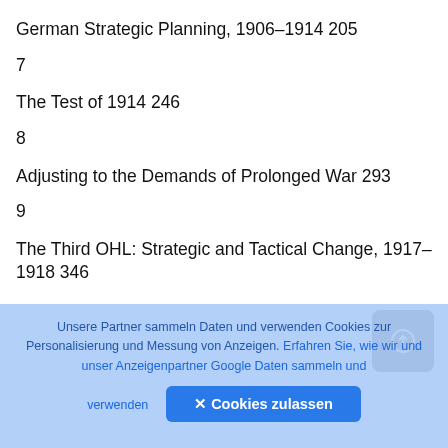German Strategic Planning, 1906–1914 205
7
The Test of 1914 246
8
Adjusting to the Demands of Prolonged War 293
9
The Third OHL: Strategic and Tactical Change, 1917–1918 346
Unsere Partner sammeln Daten und verwenden Cookies zur Personalisierung und Messung von Anzeigen. Erfahren Sie, wie wir und unser Anzeigenpartner Google Daten sammeln und verwenden
✕ Cookies zulassen